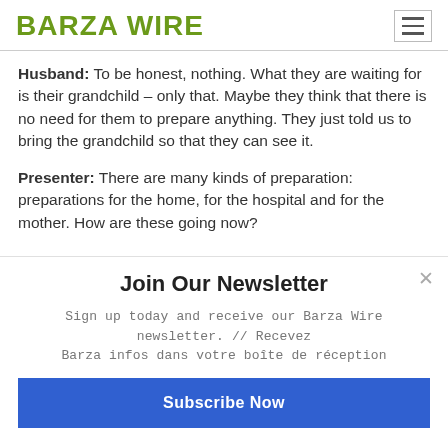BARZA WIRE
Husband: To be honest, nothing. What they are waiting for is their grandchild – only that. Maybe they think that there is no need for them to prepare anything. They just told us to bring the grandchild so that they can see it.
Presenter: There are many kinds of preparation: preparations for the home, for the hospital and for the mother. How are these going now?
Join Our Newsletter
Sign up today and receive our Barza Wire newsletter. // Recevez Barza infos dans votre boîte de réception
Subscribe Now